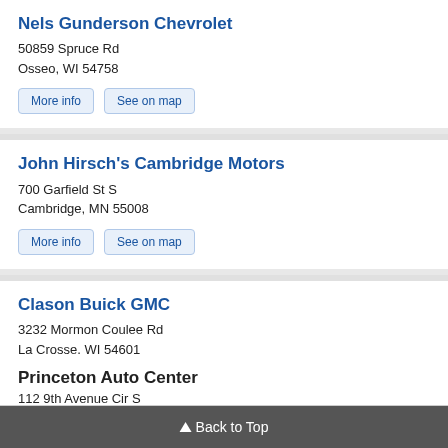Nels Gunderson Chevrolet
50859 Spruce Rd
Osseo, WI 54758
More info
See on map
John Hirsch's Cambridge Motors
700 Garfield St S
Cambridge, MN 55008
More info
See on map
Clason Buick GMC
3232 Mormon Coulee Rd
La Crosse, WI 54601
More info
See on map
Princeton Auto Center
112 9th Avenue Cir S
▲ Back to Top